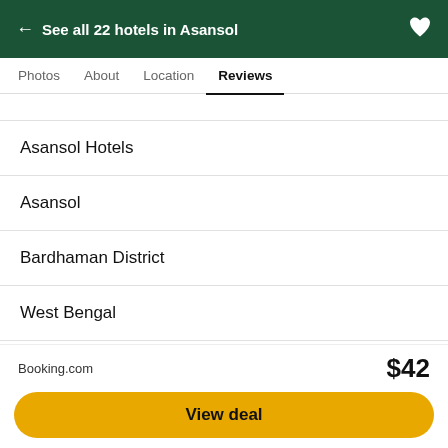← See all 22 hotels in Asansol
Photos  About  Location  Reviews
Asansol Hotels
Asansol
Bardhaman District
West Bengal
India
Asia
Asansol ▼
Booking.com  $42
View deal